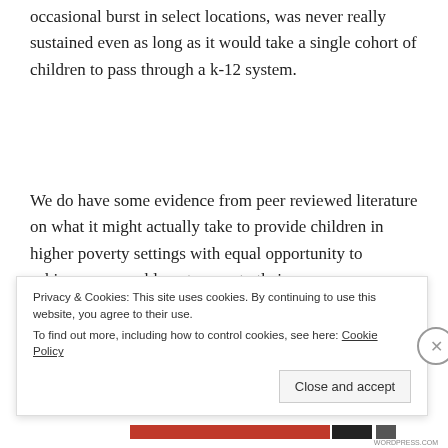occasional burst in select locations, was never really sustained even as long as it would take a single cohort of children to pass through a k-12 system.
We do have some evidence from peer reviewed literature on what it might actually take to provide children in higher poverty settings with equal opportunity to achieve comparable outcomes to their
Privacy & Cookies: This site uses cookies. By continuing to use this website, you agree to their use.
To find out more, including how to control cookies, see here: Cookie Policy